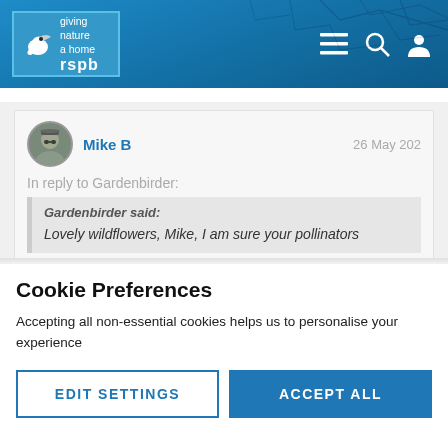RSPB - giving nature a home
Mike B — 26 May 202
In reply to Gardenbirder:
Gardenbirder said: Lovely wildflowers, Mike, I am sure your pollinators
Cookie Preferences
Accepting all non-essential cookies helps us to personalise your experience
EDIT SETTINGS
ACCEPT ALL